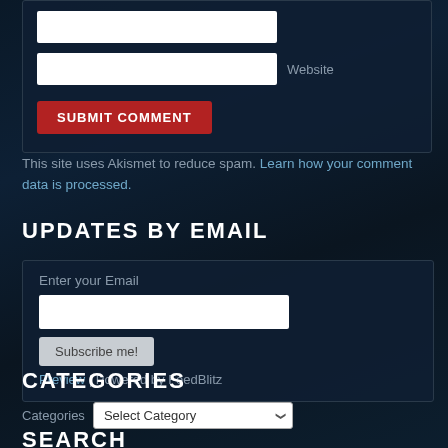[Figure (screenshot): Web form with a text input labeled Website and a Submit Comment button on a dark navy background]
This site uses Akismet to reduce spam. Learn how your comment data is processed.
UPDATES BY EMAIL
Enter your Email
[email input field]
[Subscribe me! button]
Preview | Powered by FeedBlitz
CATEGORIES
Categories  Select Category
SEARCH